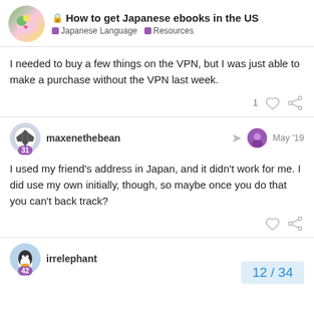How to get Japanese ebooks in the US — Japanese Language · Resources
I needed to buy a few things on the VPN, but I was just able to make a purchase without the VPN last week.
maxenethebean — May '19
I used my friend's address in Japan, and it didn't work for me. I did use my own initially, though, so maybe once you do that you can't back track?
irrelephant
12 / 34